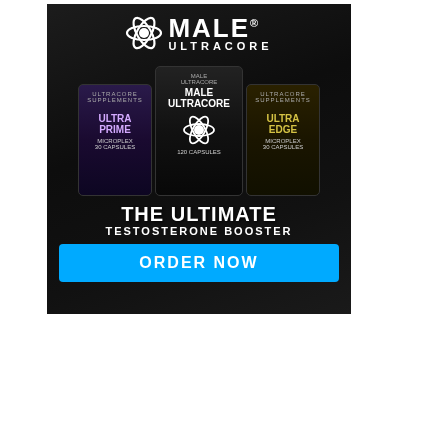[Figure (advertisement): Male Ultracore supplement advertisement showing three product bottles (Ultra Prime, Male Ultracore, Ultra Edge) on a dark background with the text 'THE ULTIMATE TESTOSTERONE BOOSTER' and an 'ORDER NOW' call-to-action button in cyan blue.]